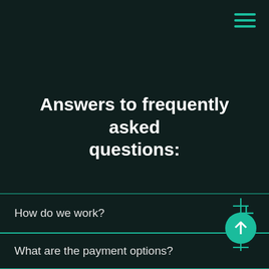[Figure (other): Hamburger menu icon (three teal horizontal lines) in top right corner]
Answers to frequently asked questions:
How do we work?
What are the payment options?
[Figure (other): Teal circle with upward arrow icon with plus signs, overlapping the FAQ divider lines]